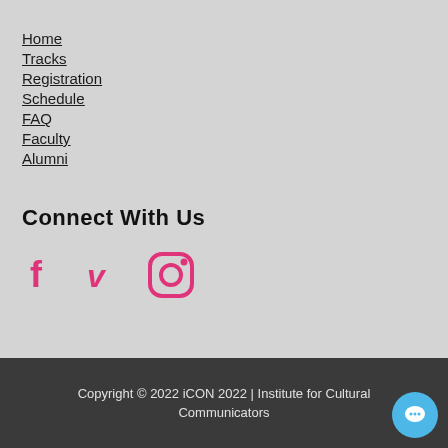Home
Tracks
Registration
Schedule
FAQ
Faculty
Alumni
Connect With Us
[Figure (illustration): Social media icons: Facebook (f), Vimeo (v), and Instagram camera icon, all in pink/magenta color]
Copyright © 2022 iCON 2022 | Institute for Cultural Communicators